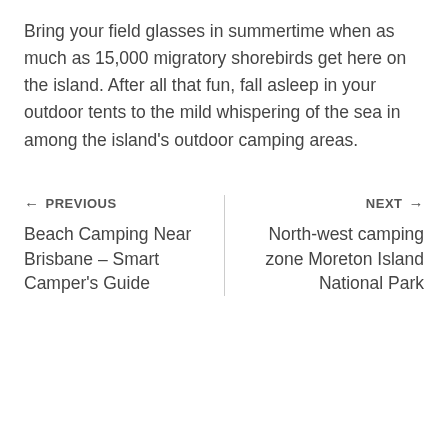Bring your field glasses in summertime when as much as 15,000 migratory shorebirds get here on the island. After all that fun, fall asleep in your outdoor tents to the mild whispering of the sea in among the island's outdoor camping areas.
← PREVIOUS
Beach Camping Near Brisbane – Smart Camper's Guide
NEXT →
North-west camping zone Moreton Island National Park